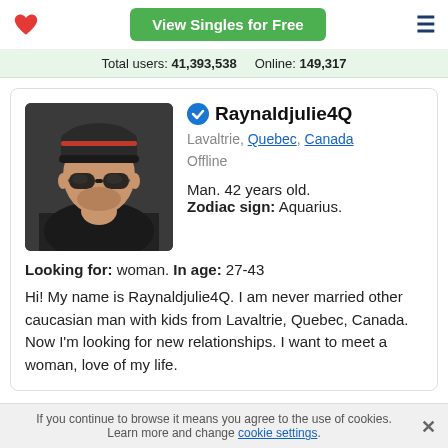View Singles for Free
Total users: 41,393,538   Online: 149,317
[Figure (photo): Profile photo of a man wearing sunglasses and a dark beanie hat, seated in a car]
Raynaldjulie4Q
Lavaltrie, Quebec, Canada
Offline
Man. 42 years old.
Zodiac sign: Aquarius.
Looking for: woman. In age: 27-43
Hi! My name is Raynaldjulie4Q. I am never married other caucasian man with kids from Lavaltrie, Quebec, Canada. Now I'm looking for new relationships. I want to meet a woman, love of my life.
If you continue to browse it means you agree to the use of cookies. Learn more and change cookie settings.